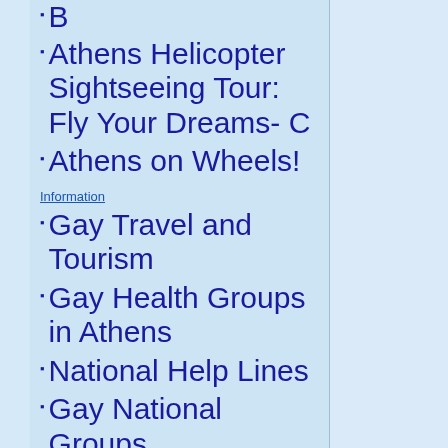B
Athens Helicopter Sightseeing Tour: Fly Your Dreams- C
Athens on Wheels!
Information
Gay Travel and Tourism
Gay Health Groups in Athens
National Help Lines
Gay National Groups